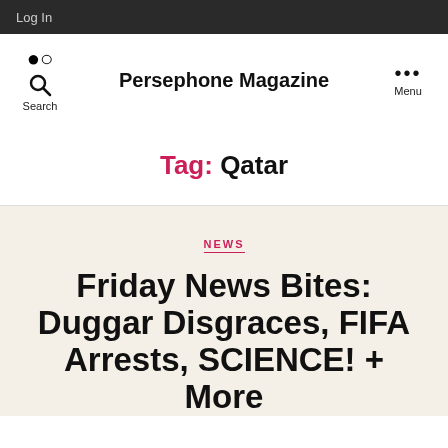Log In
Persephone Magazine
Tag: Qatar
NEWS
Friday News Bites: Duggar Disgraces, FIFA Arrests, SCIENCE! + More